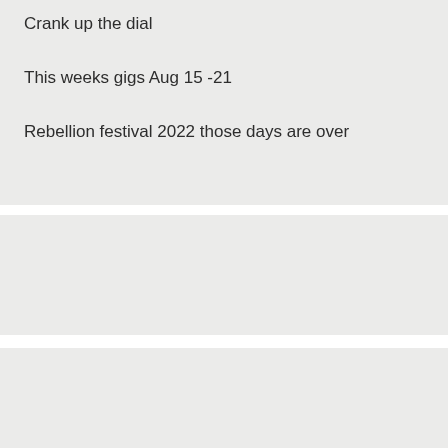Crank up the dial
This weeks gigs Aug 15 -21
Rebellion festival 2022 those days are over
SEARCH ...
Categories
Select Category